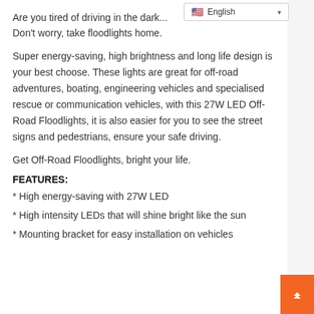Are you tired of driving in the dark... Don't worry, take floodlights home.
Super energy-saving, high brightness and long life design is your best choose. These lights are great for off-road adventures, boating, engineering vehicles and specialised rescue or communication vehicles, with this 27W LED Off-Road Floodlights, it is also easier for you to see the street signs and pedestrians, ensure your safe driving.
Get Off-Road Floodlights, bright your life.
FEATURES:
* High energy-saving with 27W LED
* High intensity LEDs that will shine bright like the sun
* Mounting bracket for easy installation on vehicles